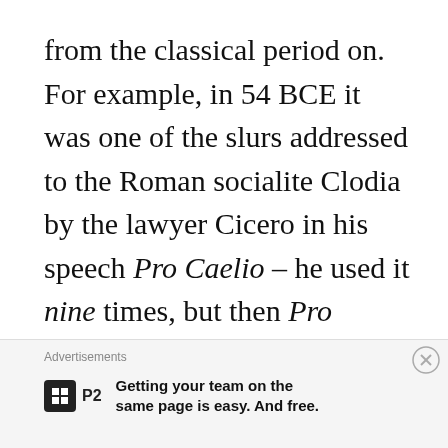from the classical period on. For example, in 54 BCE it was one of the slurs addressed to the Roman socialite Clodia by the lawyer Cicero in his speech Pro Caelio – he used it nine times, but then Pro Caelio is the quintessential text of Latin misogyny. Meretrix has that exact force that the more polite translations of words like it just don't. It is an insult. It is a blot
Advertisements
P2 Getting your team on the same page is easy. And free.